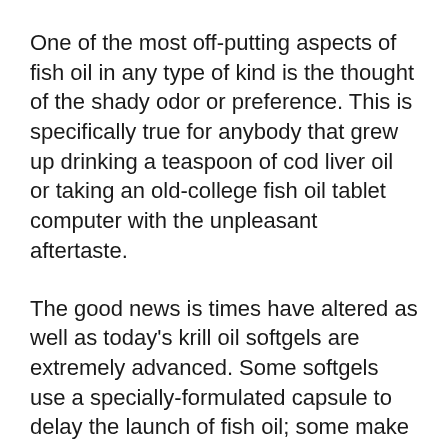One of the most off-putting aspects of fish oil in any type of kind is the thought of the shady odor or preference. This is specifically true for anybody that grew up drinking a teaspoon of cod liver oil or taking an old-college fish oil tablet computer with the unpleasant aftertaste.
The good news is times have altered as well as today's krill oil softgels are extremely advanced. Some softgels use a specially-formulated capsule to delay the launch of fish oil; some make use of a flavorful capsule. The Krill Oil Plus softgels have a refined vanilla taste. This scents like fresh baked cookies – and I haven't experienced any type of questionable aftertaste.